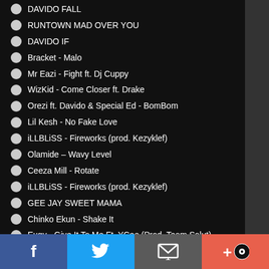DAVIDO FALL
RUNTOWN MAD OVER YOU
DAVIDO IF
Bracket - Malo
Mr Eazi - Fight ft. Dj Cuppy
WizKid - Come Closer ft. Drake
Orezi ft. Davido & Special Ed - BomBom
Lil Kesh - No Fake Love
iLLBLiSS - Fireworks (prod. Kezyklef)
Olamide – Wavy Level
Ceeza Mill - Rotate
iLLBLiSS - Fireworks (prod. Kezyklef)
GEE JAY SWEET MAMA
Chinko Ekun - Shake It
Eugy - Give It To Me Ft. YCee (Prod. Team Salut)
TEKNO YAWA